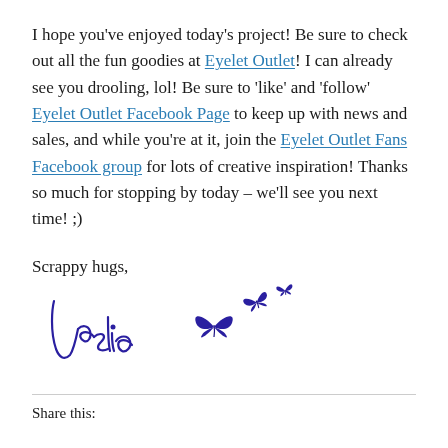I hope you've enjoyed today's project! Be sure to check out all the fun goodies at Eyelet Outlet! I can already see you drooling, lol! Be sure to 'like' and 'follow' Eyelet Outlet Facebook Page to keep up with news and sales, and while you're at it, join the Eyelet Outlet Fans Facebook group for lots of creative inspiration! Thanks so much for stopping by today – we'll see you next time! ;)
Scrappy hugs,
[Figure (illustration): Handwritten cursive signature reading 'Leslie' with decorative blue butterfly illustrations]
Share this: